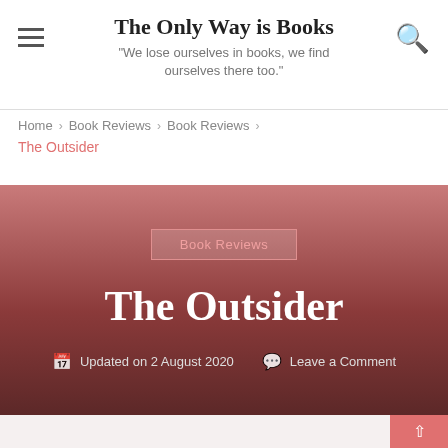The Only Way is Books — "We lose ourselves in books, we find ourselves there too."
Home > Book Reviews > Book Reviews > The Outsider
The Outsider
Book Reviews
Updated on 2 August 2020   Leave a Comment